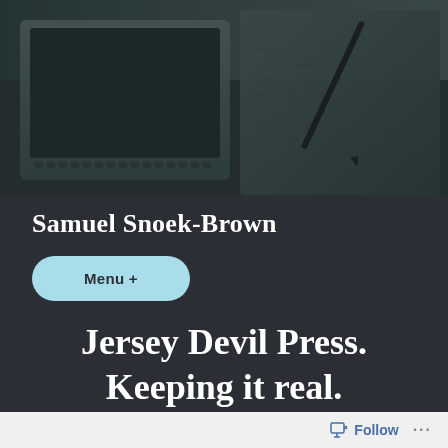[Figure (photo): Dark-toned header photo showing a laptop keyboard on the left and an open notebook with a pen/pencil on the right, shot from above with a muted teal/grey color tone]
Samuel Snoek-Brown
Menu +
Jersey Devil Press. Keeping it real.
Samuel Snoek-Brown   December 3, 2012
compassion, fiction, Jersey Devil Press, publications
Follow ...